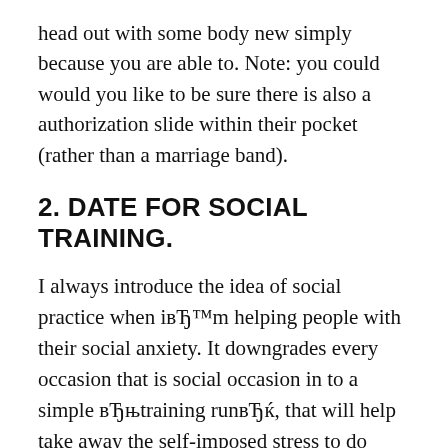head out with some body new simply because you are able to. Note: you could would you like to be sure there is also a authorization slide within their pocket (rather than a marriage band).
2. DATE FOR SOCIAL TRAINING.
I always introduce the idea of social practice when iвЂ™m helping people with their social anxiety. It downgrades every occasion that is social occasion in to a simple вЂњtraining runвЂќ, that will help take away the self-imposed stress to do well. The idea works equally well in dating. Simply see every date as an exercise run, an approach to provide your social and skills that